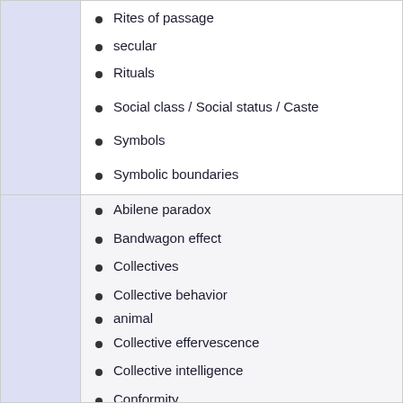Rites of passage
secular
Rituals
Social class / Social status / Caste
Symbols
Symbolic boundaries
Worship
Abilene paradox
Bandwagon effect
Collectives
Collective behavior
animal
Collective effervescence
Collective intelligence
Conformity
Consensus theory
Crowd psychology
Cults